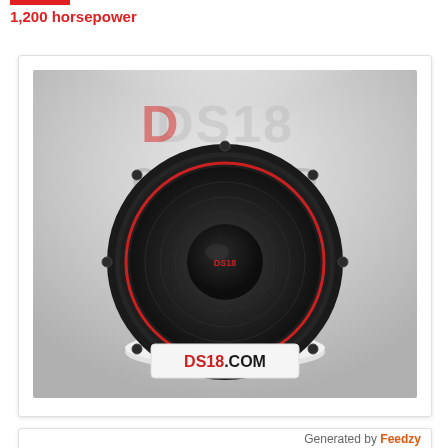1,200 horsepower
[Figure (photo): Product photo of DS18 GEN-X124D subwoofer speaker displayed on a white pedestal against a grey spotlight background. The DS18 logo and GEN-X124D model text appear in the background. DS18.COM URL shown on a banner in front of the pedestal.]
Generated by Feedzy